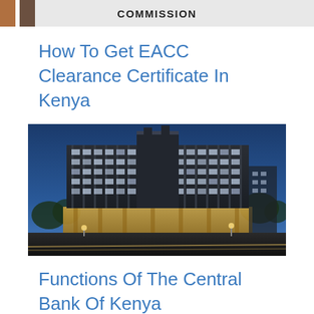COMMISSION
How To Get EACC Clearance Certificate In Kenya
[Figure (photo): Night photograph of a large modern multi-story office building with illuminated glass windows and dark facade, surrounded by trees, likely the Central Bank of Kenya headquarters.]
Functions Of The Central Bank Of Kenya